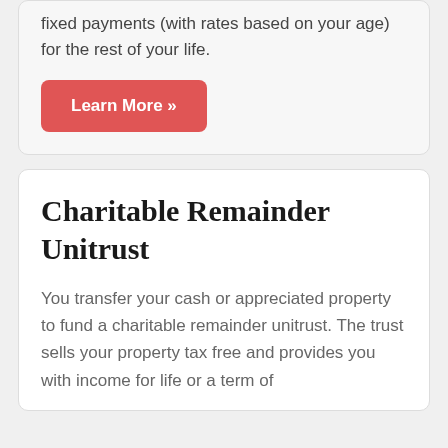fixed payments (with rates based on your age) for the rest of your life.
[Figure (other): Red button labeled 'Learn More »']
Charitable Remainder Unitrust
You transfer your cash or appreciated property to fund a charitable remainder unitrust. The trust sells your property tax free and provides you with income for life or a term of